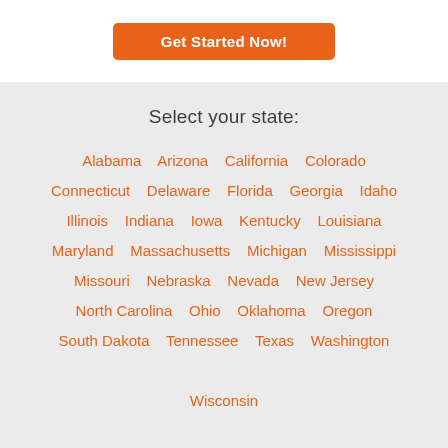[Figure (other): Orange 'Get Started Now!' button on white background]
Select your state:
Alabama   Arizona   California   Colorado   Connecticut   Delaware   Florida   Georgia   Idaho   Illinois   Indiana   Iowa   Kentucky   Louisiana   Maryland   Massachusetts   Michigan   Mississippi   Missouri   Nebraska   Nevada   New Jersey   North Carolina   Ohio   Oklahoma   Oregon   South Dakota   Tennessee   Texas   Washington   Wisconsin